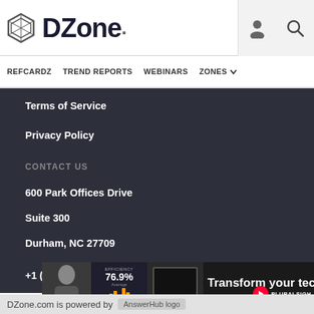DZone. [logo with user icon and search icon]
REFCARDZ  TREND REPORTS  WEBINARS  ZONES
Terms of Service
Privacy Policy
CONTACT US
600 Park Offices Drive
Suite 300
Durham, NC 27709
support@dzone.com
+1 (919) 678-0300
[Figure (screenshot): Advertisement banner showing a woman, efficiency metric 76.9%, and text 'Transform your techno...' with Pluralsight branding]
DZone.com is powered by  [AnswerHub logo]